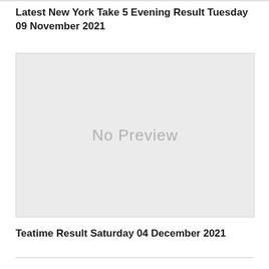Latest New York Take 5 Evening Result Tuesday 09 November 2021
[Figure (other): No Preview placeholder image with light gray background]
Teatime Result Saturday 04 December 2021